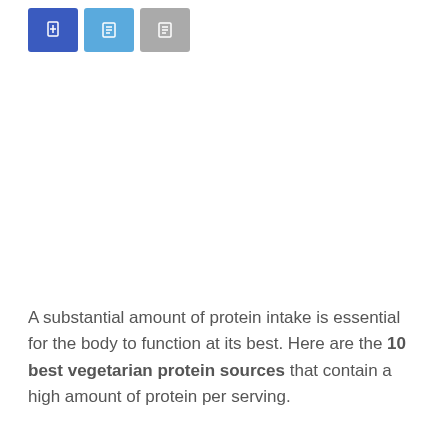[Figure (other): Three social share / action buttons: dark blue, light blue, and gray, each containing a small white icon]
A substantial amount of protein intake is essential for the body to function at its best. Here are the 10 best vegetarian protein sources that contain a high amount of protein per serving.